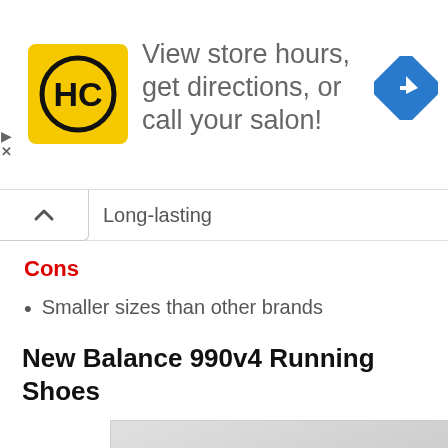[Figure (screenshot): Advertisement banner with HC logo (yellow square with black HC text in circle), text 'View store hours, get directions, or call your salon!', and a blue diamond navigation icon on the right. Small play and X controls on the left edge.]
Long-lasting
Cons
Smaller sizes than other brands
New Balance 990v4 Running Shoes
[Figure (photo): Product image of New Balance 990v4 running shoe showing the sole/bottom of the shoe in gray with black treads, with 'NEW BALANCE 990V4' text label in olive/gold color in the top left of the image frame.]